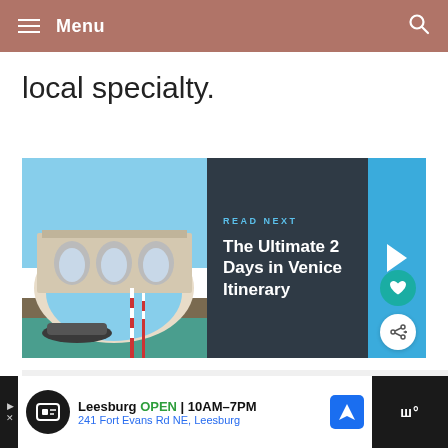Menu
local specialty.
[Figure (screenshot): READ NEXT card with photo of Venice Rialto Bridge on left, dark panel with 'READ NEXT / The Ultimate 2 Days in Venice Itinerary', blue arrow panel, heart and share buttons]
[Figure (screenshot): WHAT'S NEXT bar with thumbnail of Venice bridge and text 'The Ultimate 2 Days in Veni...']
[Figure (screenshot): Advertisement bar: Leesburg OPEN 10AM-7PM, 241 Fort Evans Rd NE, Leesburg]